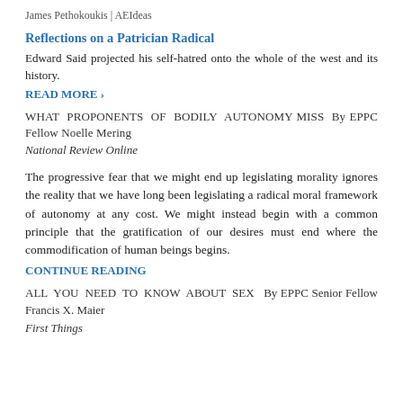James Pethokoukis | AEIdeas
Reflections on a Patrician Radical
Edward Said projected his self-hatred onto the whole of the west and its history.
READ MORE ›
WHAT PROPONENTS OF BODILY AUTONOMY MISS By EPPC Fellow Noelle Mering
National Review Online
The progressive fear that we might end up legislating morality ignores the reality that we have long been legislating a radical moral framework of autonomy at any cost. We might instead begin with a common principle that the gratification of our desires must end where the commodification of human beings begins.
CONTINUE READING
ALL YOU NEED TO KNOW ABOUT SEX By EPPC Senior Fellow Francis X. Maier
First Things